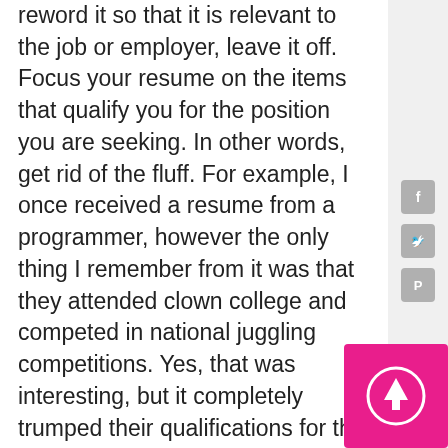reword it so that it is relevant to the job or employer, leave it off. Focus your resume on the items that qualify you for the position you are seeking. In other words, get rid of the fluff. For example, I once received a resume from a programmer, however the only thing I remember from it was that they attended clown college and competed in national juggling competitions. Yes, that was interesting, but it completely trumped their qualifications for the programming position which I don't even remember. Basically, limit items on your resume to those relevant to the position for which you are applying. Do not include irrelevant items to that position on the resume. If you haven't figured this out yet, this means you will
[Figure (other): Social media icons: Facebook, Twitter, Pinterest on right sidebar]
[Figure (other): Pink scroll-to-top button with upward arrow in bottom right corner]